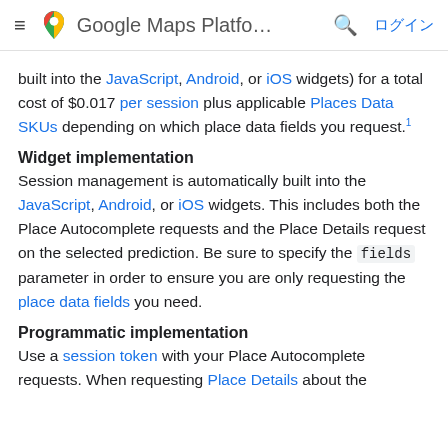≡  Google Maps Platfo…  🔍  ログイン
built into the JavaScript, Android, or iOS widgets) for a total cost of $0.017 per session plus applicable Places Data SKUs depending on which place data fields you request.¹
Widget implementation
Session management is automatically built into the JavaScript, Android, or iOS widgets. This includes both the Place Autocomplete requests and the Place Details request on the selected prediction. Be sure to specify the fields parameter in order to ensure you are only requesting the place data fields you need.
Programmatic implementation
Use a session token with your Place Autocomplete requests. When requesting Place Details about the